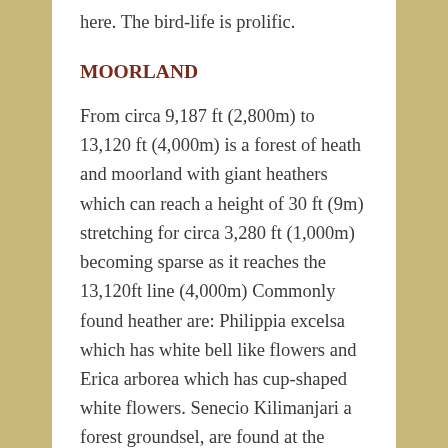here. The bird-life is prolific.
MOORLAND
From circa 9,187 ft (2,800m) to 13,120 ft (4,000m) is a forest of heath and moorland with giant heathers which can reach a height of 30 ft (9m) stretching for circa 3,280 ft (1,000m) becoming sparse as it reaches the 13,120ft line (4,000m) Commonly found heather are: Philippia excelsa which has white bell like flowers and Erica arborea which has cup-shaped white flowers. Senecio Kilimanjari a forest groundsel, are found at the higher levels and resembles a cabbage somewhat.the wildlife at this level include: the Four striped grass mouse – Mole Rat – and the Harsh Furred Mouse. the larger animals